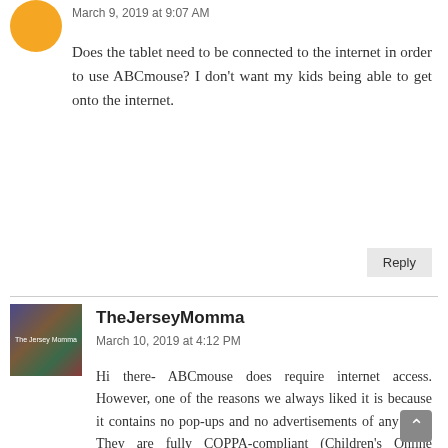March 9, 2019 at 9:07 AM
Does the tablet need to be connected to the internet in order to use ABCmouse? I don't want my kids being able to get onto the internet.
Reply
TheJerseyMomma
March 10, 2019 at 4:12 PM
Hi there- ABCmouse does require internet access. However, one of the reasons we always liked it is because it contains no pop-ups and no advertisements of any kind. They are fully COPPA-compliant (Children's Online Privacy Protection Act). Not only do they not have pop-ups, but they also have any links to other websites a which means your child won't accidentally